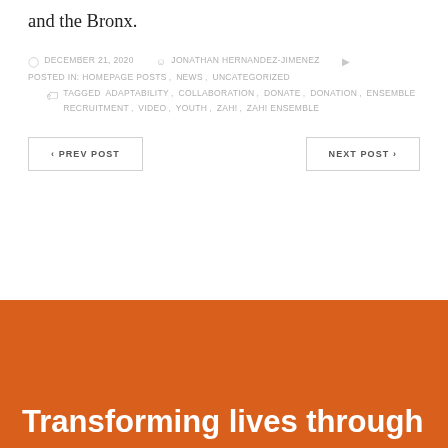and the Bronx.
DECEMBER 21, 2020  JONATHAN HERNANDEZ-JIMENEZ  POSTED IN: HOMEPAGE POSTS, NEWS, UNCATEGORIZED  TAGGED ADAPTABILITY, COLLABORATION, DONATE, DONATION, ENSEMBLE RECRUITMENT, VIDEO, YOUTH, ZAH!, ZAH! ENSEMBLE
< PREV POST
NEXT POST >
Transforming lives through